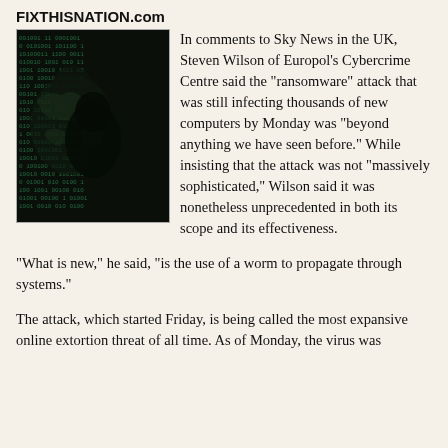FIXTHISNATION.com
[Figure (photo): Cybersecurity image showing a world map silhouette overlaid with binary code (0s and 1s) in green/teal tones on a dark background, with a hooded figure silhouette visible.]
In comments to Sky News in the UK, Steven Wilson of Europol’s Cybercrime Centre said the “ransomware” attack that was still infecting thousands of new computers by Monday was “beyond anything we have seen before.” While insisting that the attack was not “massively sophisticated,” Wilson said it was nonetheless unprecedented in both its scope and its effectiveness.
“What is new,” he said, “is the use of a worm to propagate through systems.”
The attack, which started Friday, is being called the most expansive online extortion threat of all time. As of Monday, the virus was